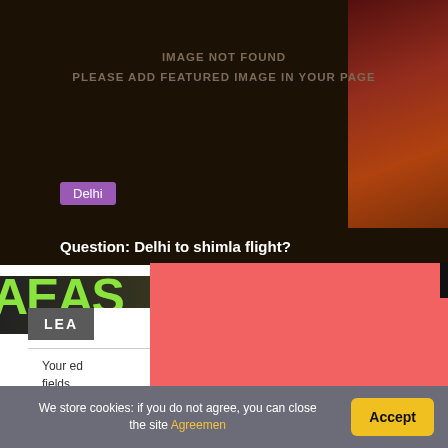[Figure (screenshot): Dark brown banner area with 'IMAGE NOT FOUND / PLEASE ADD FEATURED IMAGE IN YOUR PAGE' placeholder text, a purple 'Delhi' tag, and a question bar reading 'Question: Delhi to shimla flight?']
IMAGE NOT FOUND
PLEASE ADD FEATURED IMAGE IN YOUR PAGE
Delhi
Question: Delhi to shimla flight?
[Figure (screenshot): A red/coral colored modal overlay with a black X close button in the top-right corner, covering the underlying page content]
LEA
Your required fields
Com
We store cookies: if you do not agree, you can close the site Agreemen
Accept